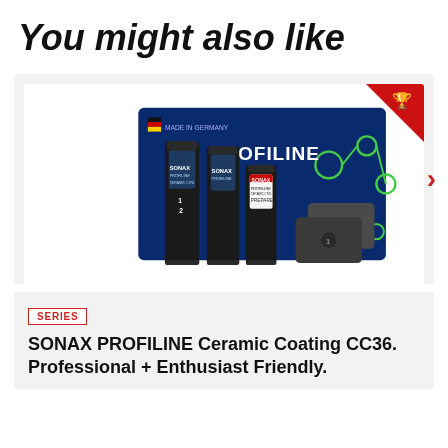You might also like
[Figure (photo): SONAX PROFILINE Ceramic Coating CC36 product set including three dark bottles labelled SONAX PROFILINE and two dark grey applicator blocks, displayed against a dark blue box with PROFILINE branding and green molecular design graphics. A red triangular award badge is in the top right corner.]
SERIES
SONAX PROFILINE Ceramic Coating CC36. Professional + Enthusiast Friendly.